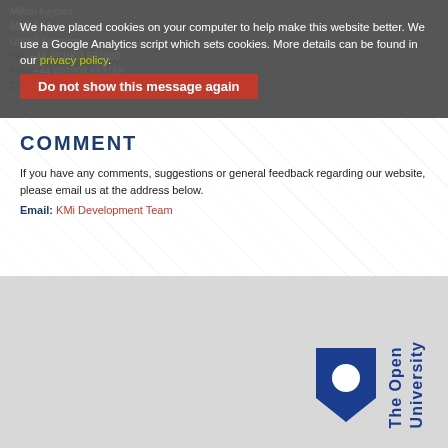Milton Keynes
MK7 6AA
United Kingdom
Tel: +44 (0)1908 653800
Fax: +44 (0)1908 653169
Email: KMi Support
We have placed cookies on your computer to help make this website better. We use a Google Analytics script which sets cookies. More details can be found in our privacy policy.
Do not show this message again
COMMENT
If you have any comments, suggestions or general feedback regarding our website, please email us at the address below.
Email: KMi Development Team
[Figure (logo): The Open University logo — blue shield with white circle, with 'The Open University' text in blue]